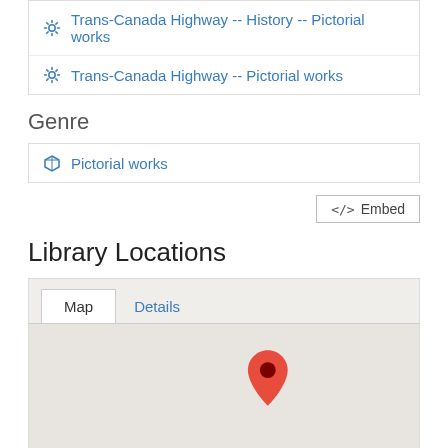Trans-Canada Highway -- History -- Pictorial works
Trans-Canada Highway -- Pictorial works
Genre
Pictorial works
Embed
Library Locations
[Figure (map): A Google Maps-style map showing a red location pin marker in the lower-center area of the map view.]